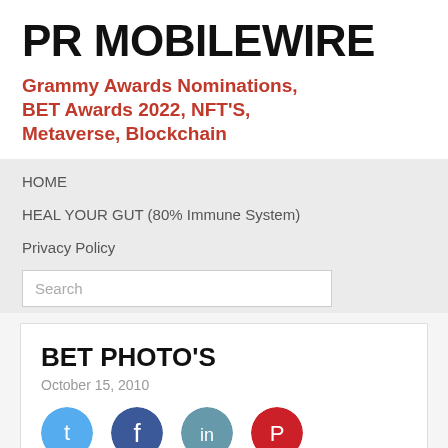PR MOBILEWIRE
Grammy Awards Nominations, BET Awards 2022, NFT'S, Metaverse, Blockchain
HOME
HEAL YOUR GUT (80% Immune System)
Privacy Policy
Search
BET PHOTO'S
October 15, 2010
[Figure (other): Row of social media share buttons (circular icons): Twitter/blue, Facebook/blue, LinkedIn/gray-blue, Pinterest/red, partially visible]